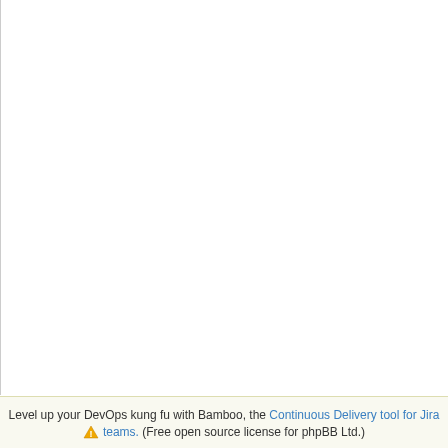Build log output showing timestamped compilation/build steps for 27-Oct-2019 08:53:28-29 including checking, creating, appending, configuring, config.s, running, /bin/bash, I/tmp/pe, I/usr/lo paths, mkdir, cc -I., /bin/bash continuation lines
Level up your DevOps kung fu with Bamboo, the Continuous Delivery tool for Jira teams. (Free open source license for phpBB Ltd.)